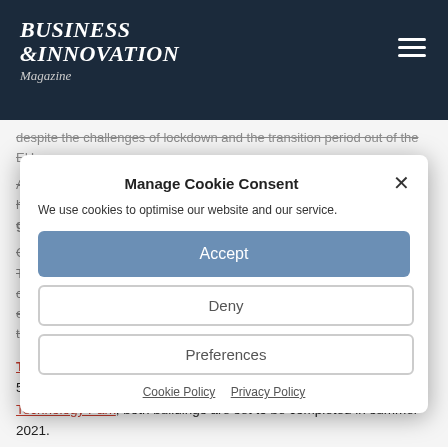BUSINESS & INNOVATION Magazine
despite the challenges of lockdown and the transition period out of the EU.
Activity in H1 was particularly quiet with only 107,500sq ft registered; however, H2 had a significant increase of 437,200sqft as the demand grew and continues to do so.
Construction commenced on the UK's new National Space Propulsion Test Facility, based at Westcott Venture Park. The centre will enable UK companies and academics to test 'state of the art' space propulsion engines – the first within the UK. This facility will aid the UK's growth of the space industry and evolve Oxfordshire's' cluster.
The Native Antigen Company has agreed to lease a new build 50,000sq ft R&D and manufacturing building at the Oxford Technology Park; both buildings are set to be completed in summer 2021.
[Figure (screenshot): Cookie Consent modal dialog with title 'Manage Cookie Consent', description text 'We use cookies to optimise our website and our service.', Accept button, Deny button, Preferences button, and links to Cookie Policy and Privacy Policy]